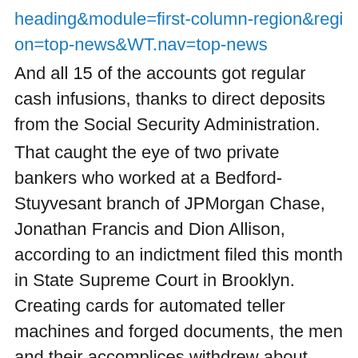heading&module=first-column-region&region=top-news&WT.nav=top-news
And all 15 of the accounts got regular cash infusions, thanks to direct deposits from the Social Security Administration.
That caught the eye of two private bankers who worked at a Bedford-Stuyvesant branch of JPMorgan Chase, Jonathan Francis and Dion Allison, according to an indictment filed this month in State Supreme Court in Brooklyn. Creating cards for automated teller machines and forged documents, the men and their accomplices withdrew about $400,000 from the accounts over two years, according to the indictment.
The New York attorney general, Eric T. Schneiderman, warned in June that bank tellers and other employees have easy access to customer data, and had committed